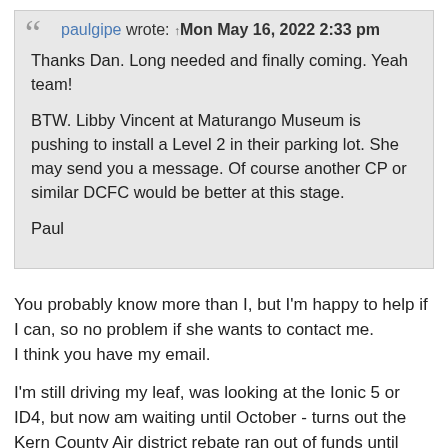paulgipe wrote: Mon May 16, 2022 2:33 pm

Thanks Dan. Long needed and finally coming. Yeah team!

BTW. Libby Vincent at Maturango Museum is pushing to install a Level 2 in their parking lot. She may send you a message. Of course another CP or similar DCFC would be better at this stage.

Paul
You probably know more than I, but I'm happy to help if I can, so no problem if she wants to contact me.
I think you have my email.

I'm still driving my leaf, was looking at the Ionic 5 or ID4, but now am waiting until October - turns out the Kern County Air district rebate ran out of funds until October. That's 4k, so I plan to wait. I checked back in early march